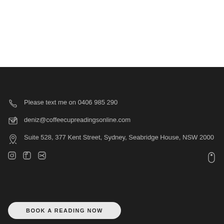Please text me on 0406 985 290
deniz@coffeecupreadingsonline.com
Suite 528, 377 Kent Street, Sydney, Seabridge House, NSW 2000
BOOK A READING NOW